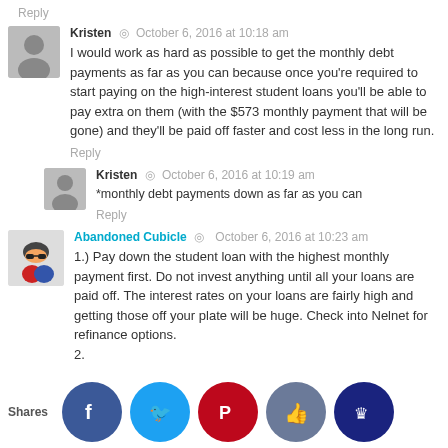Reply
Kristen · October 6, 2016 at 10:18 am
I would work as hard as possible to get the monthly debt payments as far as you can because once you're required to start paying on the high-interest student loans you'll be able to pay extra on them (with the $573 monthly payment that will be gone) and they'll be paid off faster and cost less in the long run.
Reply
Kristen · October 6, 2016 at 10:19 am
*monthly debt payments down as far as you can
Reply
Abandoned Cubicle · October 6, 2016 at 10:23 am
1.) Pay down the student loan with the highest monthly payment first. Do not invest anything until all your loans are paid off. The interest rates on your loans are fairly high and getting those off your plate will be huge. Check into Nelnet for refinance options.
2.